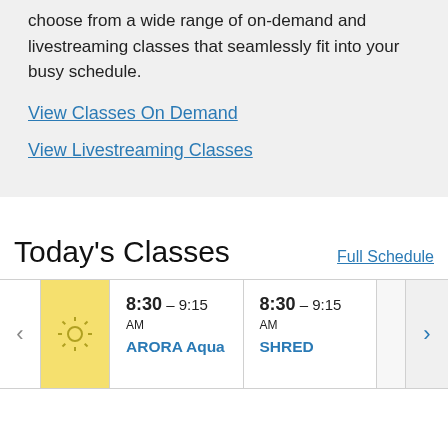choose from a wide range of on-demand and livestreaming classes that seamlessly fit into your busy schedule.
View Classes On Demand
View Livestreaming Classes
Today's Classes
Full Schedule
8:30 – 9:15 AM
ARORA Aqua
8:30 – 9:15 AM
SHRED